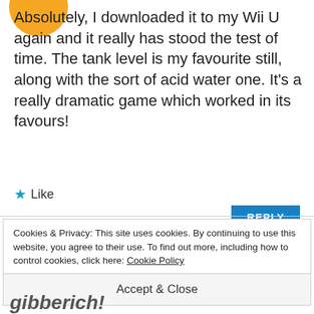[Figure (illustration): User avatar - yellow/gold circle shape (partial, top of page)]
Absolutely, I downloaded it to my Wii U again and it really has stood the test of time. The tank level is my favourite still, along with the sort of acid water one. It's a really dramatic game which worked in its favours!
★ Like
REPLY
Cookies & Privacy: This site uses cookies. By continuing to use this website, you agree to their use. To find out more, including how to control cookies, click here: Cookie Policy
Accept & Close
gibberich!